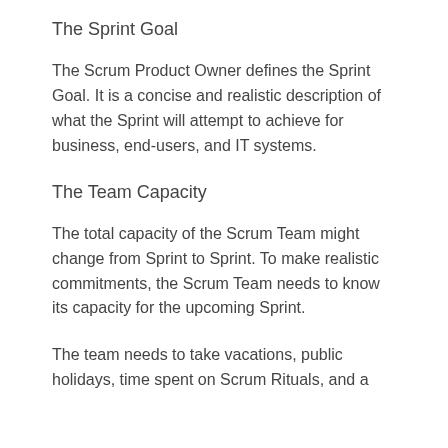The Sprint Goal
The Scrum Product Owner defines the Sprint Goal. It is a concise and realistic description of what the Sprint will attempt to achieve for business, end-users, and IT systems.
The Team Capacity
The total capacity of the Scrum Team might change from Sprint to Sprint. To make realistic commitments, the Scrum Team needs to know its capacity for the upcoming Sprint.
The team needs to take vacations, public holidays, time spent on Scrum Rituals, and a